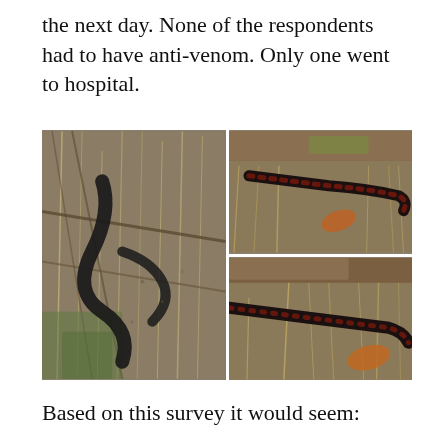the next day. None of the respondents had to have anti-venom. Only one went to hospital.
[Figure (photo): Three photos of snakes in natural habitat — one large photo on the left showing a dark snake among dry grass and sticks, and two smaller photos on the right showing a red-bellied black snake near a log among dry grass.]
Based on this survey it would seem: